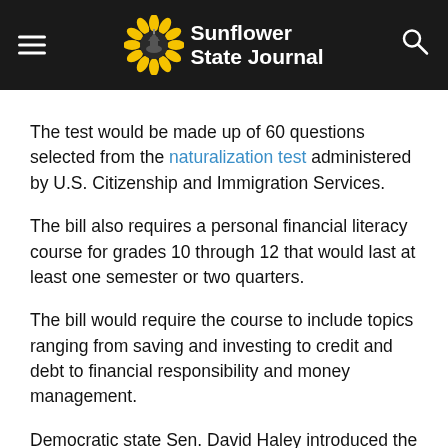Sunflower State Journal
The test would be made up of 60 questions selected from the naturalization test administered by U.S. Citizenship and Immigration Services.
The bill also requires a personal financial literacy course for grades 10 through 12 that would last at least one semester or two quarters.
The bill would require the course to include topics ranging from saving and investing to credit and debt to financial responsibility and money management.
Democratic state Sen. David Haley introduced the financial